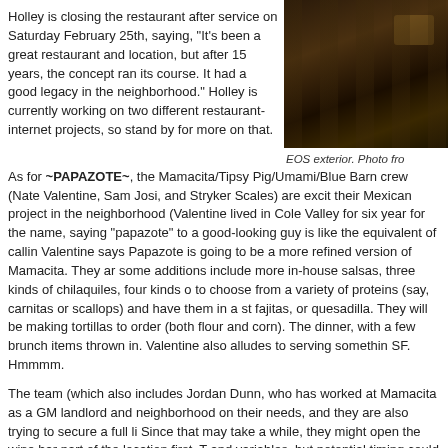Holley is closing the restaurant after service on Saturday February 25th, saying, “It’s been a great restaurant and location, but after 15 years, the concept ran its course. It had a good legacy in the neighborhood.” Holley is currently working on two different restaurant-internet projects, so stand by for more on that.
[Figure (photo): Dark exterior photo of EOS restaurant at night, showing window frames and interior lighting]
EOS exterior. Photo fro
As for ~PAPAZOTE~, the Mamacita/Tipsy Pig/Umami/Blue Barn crew (Nate Valentine, Sam Josi, and Stryker Scales) are excited about their Mexican project in the neighborhood (Valentine lived in Cole Valley for six years). As for the name, saying “papazote” to a good-looking guy is like the equivalent of calling... Valentine says Papazote is going to be a more refined version of Mamacita. They and some additions include more in-house salsas, three kinds of chilaquiles, four kinds of... to choose from a variety of proteins (say, carnitas or scallops) and have them in a st... fajitas, or quesadilla. They will be making tortillas to order (both flour and corn). The... dinner, with a few brunch items thrown in. Valentine also alludes to serving somethin... SF. Hmmmm.
The team (which also includes Jordan Dunn, who has worked at Mamacita as a GM... landlord and neighborhood on their needs, and they are also trying to secure a full li... Since that may take a while, they might open the wine bar part of the location first. T... and variables, but potential timing could point to a July or August opening. Welcome... Cole St. at Carl, 415-566-3063.
Related: 2010